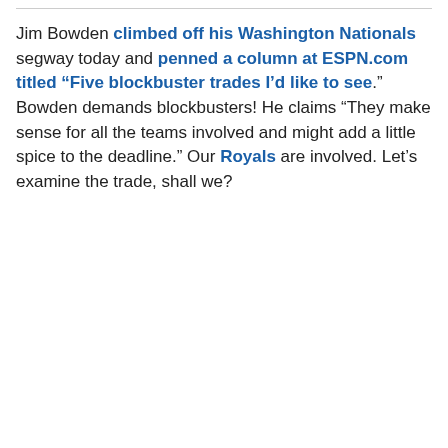Jim Bowden climbed off his Washington Nationals segway today and penned a column at ESPN.com titled "Five blockbuster trades I'd like to see." Bowden demands blockbusters! He claims "They make sense for all the teams involved and might add a little spice to the deadline." Our Royals are involved. Let's examine the trade, shall we?